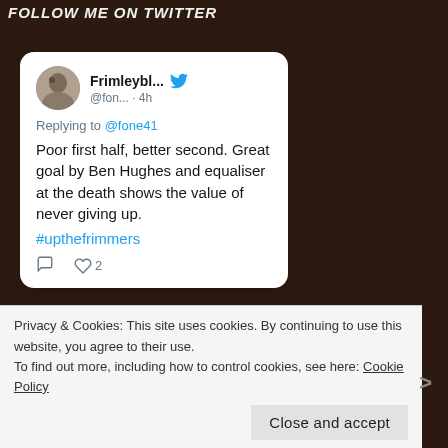FOLLOW ME ON TWITTER
[Figure (screenshot): Tweet card from Frimleybl... (@fon...) posted 4h ago, replying to @fone41. Tweet text: 'Poor first half, better second. Great goal by Ben Hughes and equaliser at the death shows the value of never giving up. #upthefrimmers'. 2 likes shown.]
Replying to @fone41
Poor first half, better second. Great goal by Ben Hughes and equaliser at the death shows the value of never giving up.
#upthefrimmers
Privacy & Cookies: This site uses cookies. By continuing to use this website, you agree to their use.
To find out more, including how to control cookies, see here: Cookie Policy
Close and accept